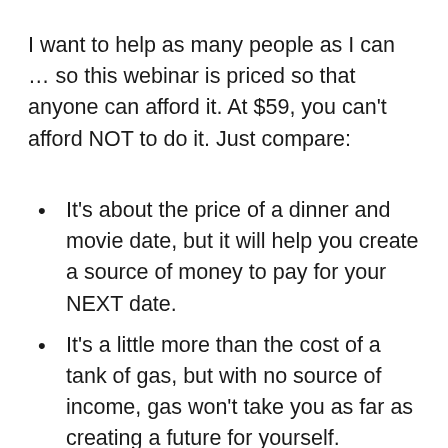I want to help as many people as I can … so this webinar is priced so that anyone can afford it. At $59, you can't afford NOT to do it. Just compare:
It's about the price of a dinner and movie date, but it will help you create a source of money to pay for your NEXT date.
It's a little more than the cost of a tank of gas, but with no source of income, gas won't take you as far as creating a future for yourself.
It's less than the cost of a resume